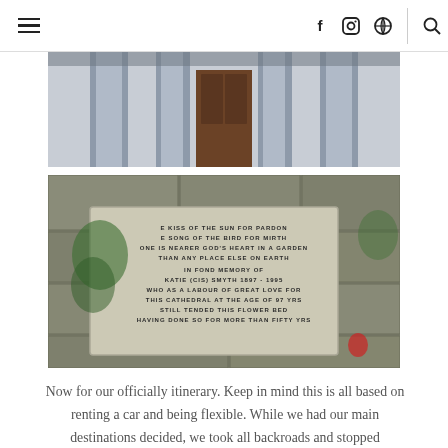≡  f  ☷  ⊕  🔍
[Figure (photo): Close-up photograph of the top of a building entrance with tall stone columns and a dark wooden door visible between them.]
[Figure (photo): Photograph of a stone memorial plaque set into a stone wall, with text reading: 'THE KISS OF THE SUN FOR PARDON THE SONG OF THE BIRD FOR MIRTH ONE IS NEARER GOD'S HEART IN A GARDEN THAN ANY PLACE ELSE ON EARTH IN FOND MEMORY OF KATIE (CIS) SMYTH 1897-1995 WHO AS A LABOUR OF GREAT LOVE FOR THIS CATHEDRAL AT THE AGE OF 97 YRS STILL TENDED THIS FLOWER BED HAVING DONE SO FOR MORE THAN FIFTY YRS']
Now for our officially itinerary. Keep in mind this is all based on renting a car and being flexible. While we had our main destinations decided, we took all backroads and stopped whenever we wanted. When road tripping in new areas I usually turn on "avoid